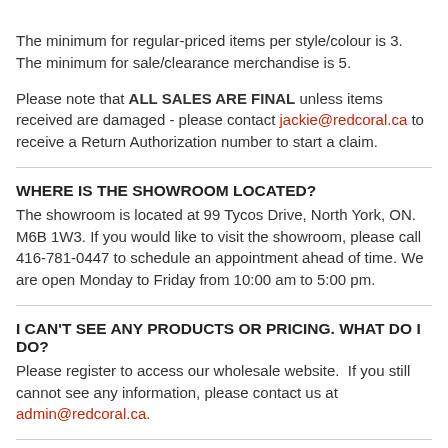The minimum for regular-priced items per style/colour is 3. The minimum for sale/clearance merchandise is 5.
Please note that ALL SALES ARE FINAL unless items received are damaged - please contact jackie@redcoral.ca to receive a Return Authorization number to start a claim.
WHERE IS THE SHOWROOM LOCATED?
The showroom is located at 99 Tycos Drive, North York, ON. M6B 1W3. If you would like to visit the showroom, please call 416-781-0447 to schedule an appointment ahead of time. We are open Monday to Friday from 10:00 am to 5:00 pm.
I CAN'T SEE ANY PRODUCTS OR PRICING. WHAT DO I DO?
Please register to access our wholesale website.  If you still cannot see any information, please contact us at admin@redcoral.ca.
DO YOU PROVIDE CASH & CARRY?
Yes! Feel free to visit our showroom at 99 Tycos Drive, North York, ON